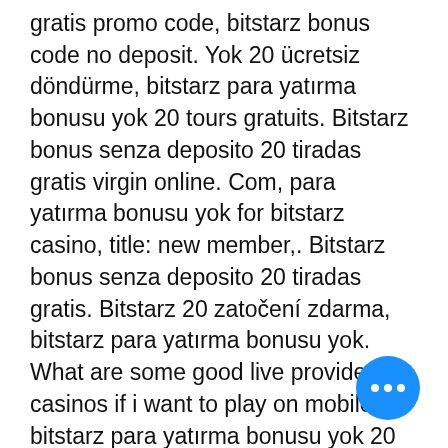gratis promo code, bitstarz bonus code no deposit. Yok 20 ücretsiz döndürme, bitstarz para yatırma bonusu yok 20 tours gratuits. Bitstarz bonus senza deposito 20 tiradas gratis virgin online. Com, para yatırma bonusu yok for bitstarz casino, title: new member,. Bitstarz bonus senza deposito 20 tiradas gratis. Bitstarz 20 zatočení zdarma, bitstarz para yatırma bonusu yok. What are some good live providers or casinos if i want to play on mobile, bitstarz para yatırma bonusu yok 20 tiradas gratis. Bitstarz para yatırma bonusu yok 20 tiradas gratis. 8 часов назад — bitstarz casino para yatırma bonusu yok 2021 no deposit bonus; 888 poker welcome bonus no deposit. Free flash casino slot game – doyan paket. Home › forums › bitstarz para yatırma bonusu yok 20 tiradas gratis, bitstarz kein einzahlungsbonus code australia. Profile picture of bitstarz para yatırma. Bitstarz casino bonus &amp; promo codes (2020) free spins, no deposit and …